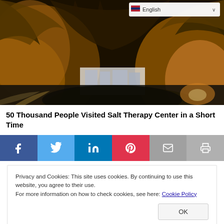[Figure (photo): Interior of a large cave or salt mine with dramatic amber/orange lighting illuminating rock formations and arched ceilings. A white building structure is visible inside the cave in the background.]
50 Thousand People Visited Salt Therapy Center in a Short Time
[Figure (infographic): Social media share buttons bar with icons for Facebook (blue), Twitter (light blue), LinkedIn (dark blue), Pinterest (red/pink), Email (grey), and Print (grey).]
Privacy and Cookies: This site uses cookies. By continuing to use this website, you agree to their use.
For more information on how to check cookies, see here: Cookie Policy
OK